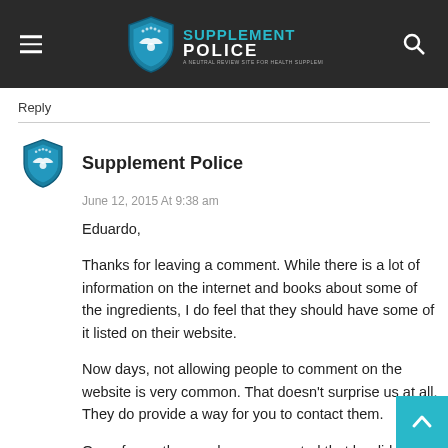Supplement Police
Reply
Supplement Police
June 12, 2015 At 9:38 am

Eduardo,

Thanks for leaving a comment. While there is a lot of information on the internet and books about some of the ingredients, I do feel that they should have some of it listed on their website.

Now days, not allowing people to comment on the website is very common. That doesn't surprise us at all. They do provide a way for you to contact them.

One of our other readers commented that he did